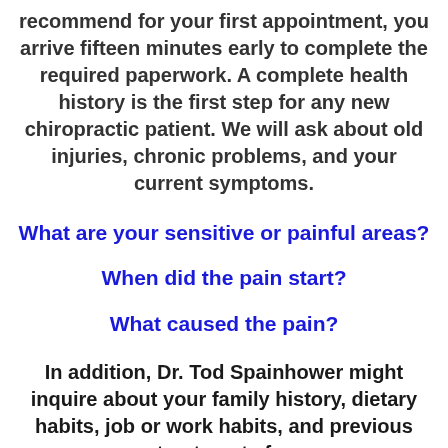recommend for your first appointment, you arrive fifteen minutes early to complete the required paperwork. A complete health history is the first step for any new chiropractic patient. We will ask about old injuries, chronic problems, and your current symptoms.
What are your sensitive or painful areas?
When did the pain start?
What caused the pain?
In addition, Dr. Tod Spainhower might inquire about your family history, dietary habits, job or work habits, and previous treatments for